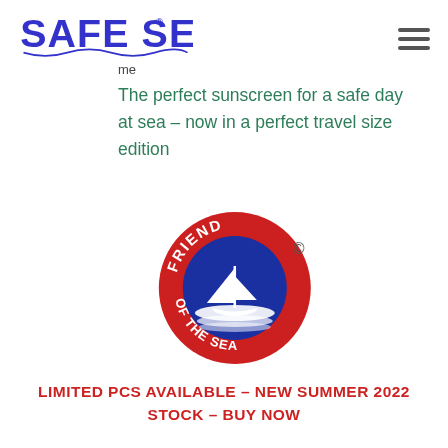[Figure (logo): Safe Sea logo with blue stylized text and wave underline]
me
The perfect sunscreen for a safe day at sea – now in a perfect travel size edition
[Figure (logo): Friend of the Sea circular logo: red ring with white text 'FRIEND OF THE SEA', blue circle center with white sailboat and waves]
LIMITED PCS AVAILABLE – NEW SUMMER 2022 STOCK – BUY NOW